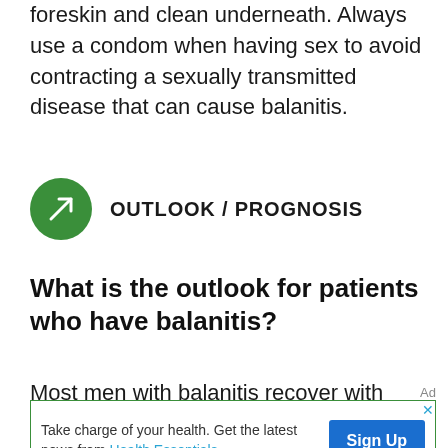foreskin and clean underneath. Always use a condom when having sex to avoid contracting a sexually transmitted disease that can cause balanitis.
OUTLOOK / PROGNOSIS
What is the outlook for patients who have balanitis?
Most men with balanitis recover with
[Figure (infographic): Advertisement banner: 'Take charge of your health. Get the latest news from Health Essentials' with a Sign Up button]